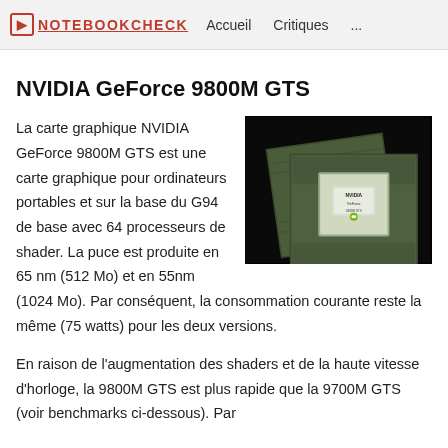NOTEBOOKCHECK — Accueil  Critiques  ...
NVIDIA GeForce 9800M GTS
[Figure (photo): Two NVIDIA GeForce 9800M GTS graphics chips on a dark background, showing the green PCB with silver NVIDIA-branded die.]
La carte graphique NVIDIA GeForce 9800M GTS est une carte graphique pour ordinateurs portables et sur la base du G94 de base avec 64 processeurs de shader. La puce est produite en 65 nm (512 Mo) et en 55nm (1024 Mo). Par conséquent, la consommation courante reste la même (75 watts) pour les deux versions.
En raison de l'augmentation des shaders et de la haute vitesse d'horloge, la 9800M GTS est plus rapide que la 9700M GTS (voir benchmarks ci-dessous). Par